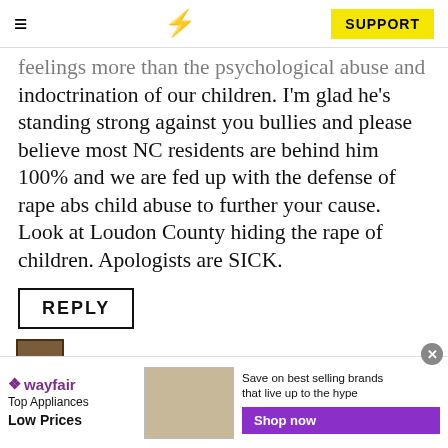≡  ⚡  SUPPORT
feelings more than the psychological abuse and indoctrination of our children. I'm glad he's standing strong against you bullies and please believe most NC residents are behind him 100% and we are fed up with the defense of rape abs child abuse to further your cause. Look at Loudon County hiding the rape of children. Apologists are SICK.
REPLY
SCUWISEET SAYS:
OCTOBER 11, 2021 AT 9:50 AM
[Figure (infographic): Wayfair advertisement banner: Top Appliances Low Prices, with stove image, Shop now button]